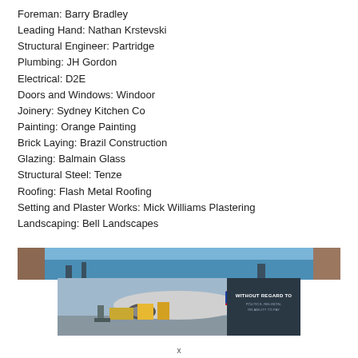Foreman: Barry Bradley
Leading Hand: Nathan Krstevski
Structural Engineer: Partridge
Plumbing: JH Gordon
Electrical: D2E
Doors and Windows: Windoor
Joinery: Sydney Kitchen Co
Painting: Orange Painting
Brick Laying: Brazil Construction
Glazing: Balmain Glass
Structural Steel: Tenze
Roofing: Flash Metal Roofing
Setting and Plaster Works: Mick Williams Plastering
Landscaping: Bell Landscapes
[Figure (photo): Two overlapping advertisement/banner images: top image shows a blue sky scene, bottom image shows cargo being loaded onto a Southwest Airlines plane with text overlay 'WITHOUT REGARD TO POLITICS, RELIGION, OR ABILITY TO PAY']
x